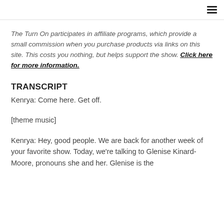The Turn On participates in affiliate programs, which provide a small commission when you purchase products via links on this site. This costs you nothing, but helps support the show. Click here for more information.
TRANSCRIPT
Kenrya: Come here. Get off.
[theme music]
Kenrya: Hey, good people. We are back for another week of your favorite show. Today, we're talking to Glenise Kinard-Moore, pronouns she and her. Glenise is the